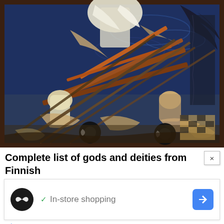[Figure (illustration): A dramatic oil painting depicting Finnish mythological figures — warriors in a boat engaged in a fierce struggle, with a white-robed figure at the top, multiple figures grasping long poles or spears, rendered in rich earth tones and dark blues. Framed with a dark border.]
Complete list of gods and deities from Finnish mythology
[Figure (screenshot): An advertisement overlay box showing a circular black icon with an infinity-like logo, a green checkmark with 'In-store shopping' text, and a blue diamond-shaped navigation arrow button. Below are small blue icons for play and close (X).]